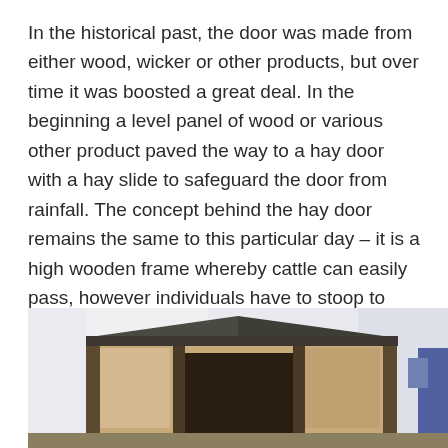In the historical past, the door was made from either wood, wicker or other products, but over time it was boosted a great deal. In the beginning a level panel of wood or various other product paved the way to a hay door with a hay slide to safeguard the door from rainfall. The concept behind the hay door remains the same to this particular day – it is a high wooden frame whereby cattle can easily pass, however individuals have to stoop to enter.
[Figure (photo): Photograph of a barn or rural building exterior showing a timber-framed hay door structure with a dark metal roof/canopy supported by wooden posts, viewed from outside.]